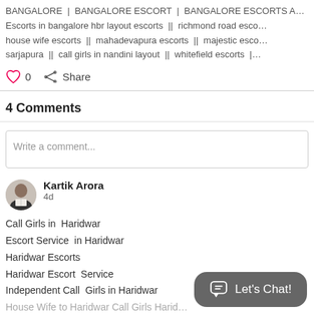BANGALORE | BANGALORE ESCORT | BANGALORE ESCORTS A... Escorts in bangalore hbr layout escorts || richmond road esco... house wife escorts || mahadevapura escorts || majestic esco... sarjapura || call girls in nandini layout || whitefield escorts |
0  Share
4 Comments
Write a comment...
Kartik Arora
4d
Call Girls in  Haridwar
Escort Service  in Haridwar
Haridwar Escorts
Haridwar Escort  Service
Independent Call  Girls in Haridwar
House Wife to Haridwar Call Girls Harid...